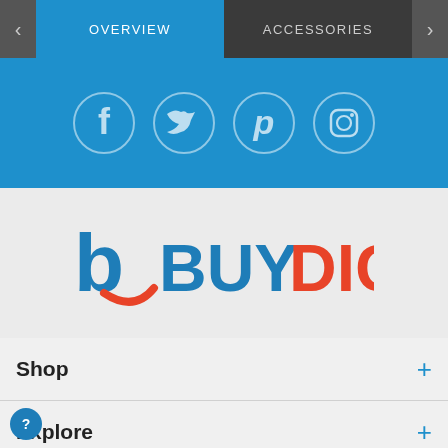OVERVIEW | ACCESSORIES
[Figure (screenshot): Social media icons bar with Facebook, Twitter, Pinterest, and Instagram circle icons on blue background]
[Figure (logo): BuyDig logo with stylized b icon in blue and orange and BUYDIG text]
Shop +
Explore +
Customer Service +